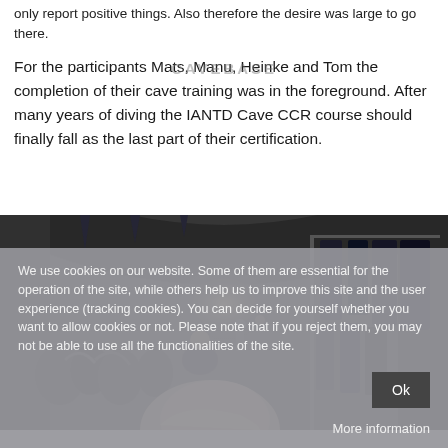only report positive things. Also therefore the desire was large to go there.
For the participants Mats, Manu, Heinke and Tom the completion of their cave training was in the foreground. After many years of diving the IANTD Cave CCR course should finally fall as the last part of their certification.
[Figure (photo): Interior of a cave or tunnel diving facility with diving equipment, wetsuits on hangers, and people in the background. A person's head is visible in the foreground.]
We use cookies on our website. Some of them are essential for the operation of the site, while others help us to improve this site and the user experience (tracking cookies). You can decide for yourself whether you want to allow cookies or not. Please note that if you reject them, you may not be able to use all the functionalities of the site.
Ok
More information